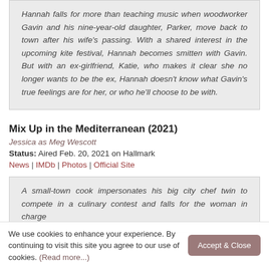Hannah falls for more than teaching music when woodworker Gavin and his nine-year-old daughter, Parker, move back to town after his wife's passing. With a shared interest in the upcoming kite festival, Hannah becomes smitten with Gavin. But with an ex-girlfriend, Katie, who makes it clear she no longer wants to be the ex, Hannah doesn't know what Gavin's true feelings are for her, or who he'll choose to be with.
Mix Up in the Mediterranean (2021)
Jessica as Meg Wescott
Status: Aired Feb. 20, 2021 on Hallmark
News | IMDb | Photos | Official Site
A small-town cook impersonates his big city chef twin to compete in a culinary contest and falls for the woman in charge
We use cookies to enhance your experience. By continuing to visit this site you agree to our use of cookies. (Read more...)